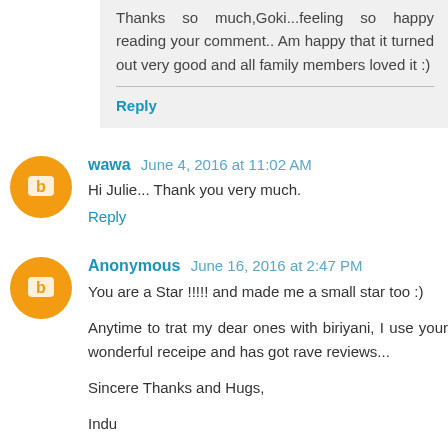Thanks so much,Goki...feeling so happy reading your comment.. Am happy that it turned out very good and all family members loved it :)
Reply
wawa  June 4, 2016 at 11:02 AM
Hi Julie... Thank you very much.
Reply
Anonymous  June 16, 2016 at 2:47 PM
You are a Star !!!!! and made me a small star too :)
Anytime to trat my dear ones with biriyani, I use your wonderful receipe and has got rave reviews...
Sincere Thanks and Hugs,
Indu